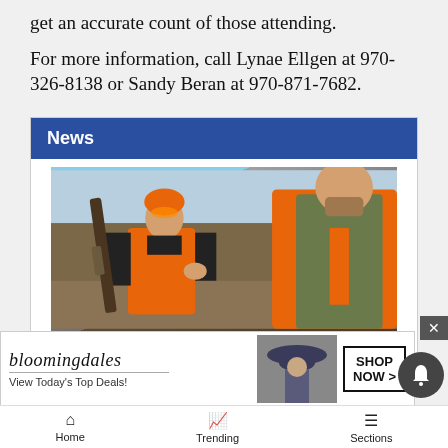get an accurate count of those attending.
For more information, call Lynae Ellgen at 970-326-8138 or Sandy Beran at 970-871-7682.
News
[Figure (photo): Two hunters in orange safety vests and gear, one holding a rifle, standing outdoors in a field.]
Co
[Figure (other): Bloomingdale's advertisement: 'View Today's Top Deals!' with a woman in a hat and SHOP NOW > button]
Home   Trending   Sections